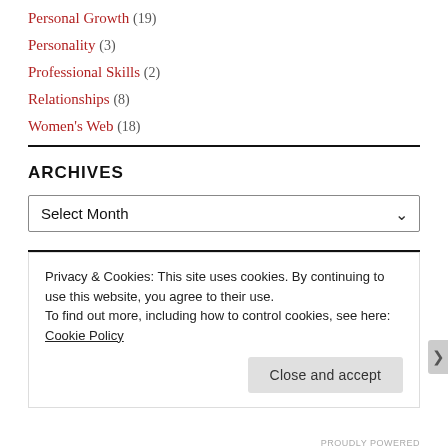Personal Growth (19)
Personality (3)
Professional Skills (2)
Relationships (8)
Women's Web (18)
ARCHIVES
Select Month
Privacy & Cookies: This site uses cookies. By continuing to use this website, you agree to their use.
To find out more, including how to control cookies, see here: Cookie Policy
Close and accept